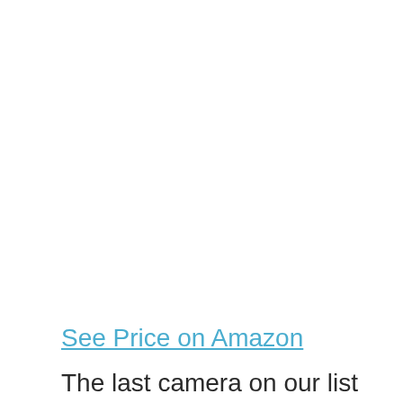See Price on Amazon
The last camera on our list is the